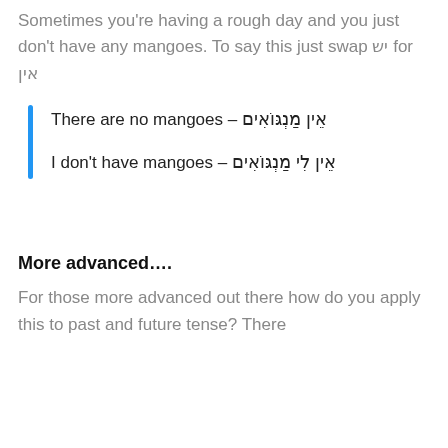Sometimes you're having a rough day and you just don't have any mangoes. To say this just swap יש for אין
There are no mangoes – אֵין מַנְגּוֹאִים
I don't have mangoes – אֵין לִי מַנְגּוֹאִים
More advanced….
For those more advanced out there how do you apply this to past and future tense? There